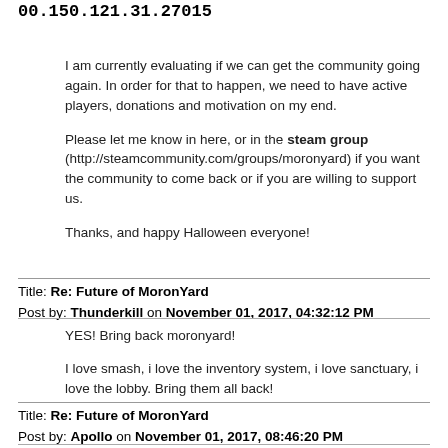00.150.121.31.27015
I am currently evaluating if we can get the community going again. In order for that to happen, we need to have active players, donations and motivation on my end.
Please let me know in here, or in the steam group (http://steamcommunity.com/groups/moronyard) if you want the community to come back or if you are willing to support us.
Thanks, and happy Halloween everyone!
Title: Re: Future of MoronYard
Post by: Thunderkill on November 01, 2017, 04:32:12 PM
YES! Bring back moronyard!

I love smash, i love the inventory system, i love sanctuary, i love the lobby. Bring them all back!
Title: Re: Future of MoronYard
Post by: Apollo on November 01, 2017, 08:46:20 PM
I would love to see the return of moronyard, ive been praying for this to happen.